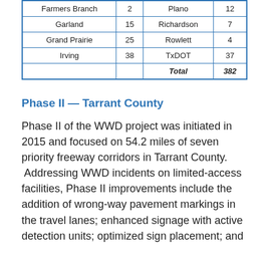| Farmers Branch | 2 | Plano | 12 |
| Garland | 15 | Richardson | 7 |
| Grand Prairie | 25 | Rowlett | 4 |
| Irving | 38 | TxDOT | 37 |
|  |  | Total | 382 |
Phase II — Tarrant County
Phase II of the WWD project was initiated in 2015 and focused on 54.2 miles of seven priority freeway corridors in Tarrant County. Addressing WWD incidents on limited-access facilities, Phase II improvements include the addition of wrong-way pavement markings in the travel lanes; enhanced signage with active detection units; optimized sign placement; and